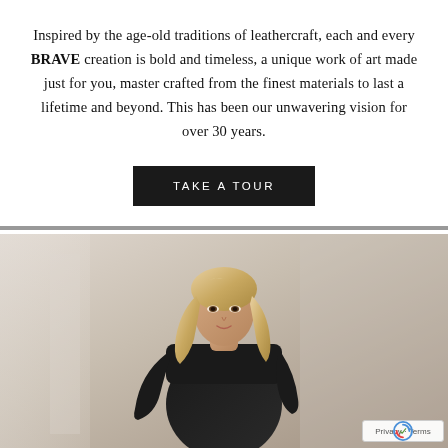Inspired by the age-old traditions of leathercraft, each and every BRAVE creation is bold and timeless, a unique work of art made just for you, master crafted from the finest materials to last a lifetime and beyond. This has been our unwavering vision for over 30 years.
TAKE A TOUR
[Figure (photo): A blonde woman wearing a black sleeveless top, seated, photographed against a light background with soft natural lighting. A reCAPTCHA badge is visible in the bottom-right corner.]